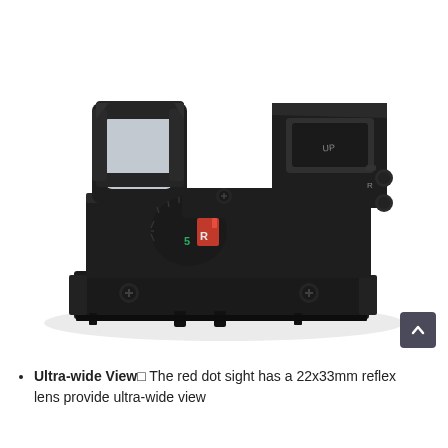[Figure (photo): A black red dot reflex sight/scope with open lens housing, adjustment turrets, and a picatinny rail mount base. The sight shows a green '5' and red 'R' indicator on the brightness selector dial.]
Ultra-wide View□ The red dot sight has a 22x33mm reflex lens provide ultra-wide view